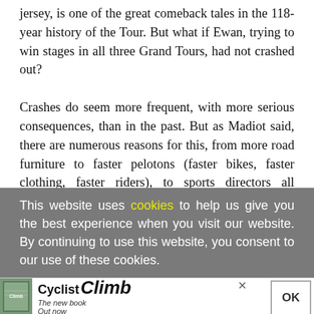jersey, is one of the great comeback tales in the 118-year history of the Tour. But what if Ewan, trying to win stages in all three Grand Tours, had not crashed out?

Crashes do seem more frequent, with more serious consequences, than in the past. But as Madiot said, there are numerous reasons for this, from more road furniture to faster pelotons (faster bikes, faster clothing, faster riders), to sports directors all instructing their riders to move up ahead of a dangerous section of road, to
This website uses cookies to help us give you the best experience when you visit our website. By continuing to use this website, you consent to our use of these cookies.
[Figure (other): Advertisement banner for 'Cyclist Climb' book with book cover thumbnail, title text 'Cyclist Climb The new book Out now', a close button (x) and an OK button]